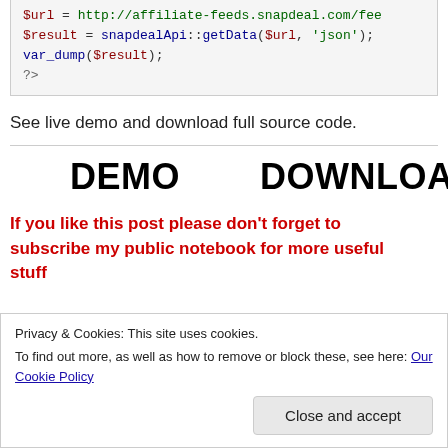[Figure (screenshot): Code block showing PHP snippet: $result = snapdealApi::getData($url, 'json'); var_dump($result); ?>]
See live demo and download full source code.
DEMO   DOWNLOAD
If you like this post please don't forget to subscribe my public notebook for more useful stuff
Privacy & Cookies: This site uses cookies. To find out more, as well as how to remove or block these, see here: Our Cookie Policy
Close and accept